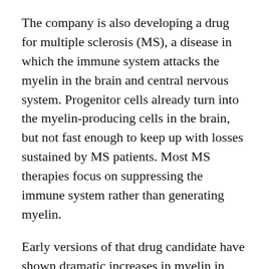The company is also developing a drug for multiple sclerosis (MS), a disease in which the immune system attacks the myelin in the brain and central nervous system. Progenitor cells already turn into the myelin-producing cells in the brain, but not fast enough to keep up with losses sustained by MS patients. Most MS therapies focus on suppressing the immune system rather than generating myelin.
Early versions of that drug candidate have shown dramatic increases in myelin in mouse studies. The company expects to file an investigational new drug application for MS with the FDA next year.
“When we were conceiving of this project, we meant for it to be a platform that could be broadly applicable to multiple tissues. Now we’re moving